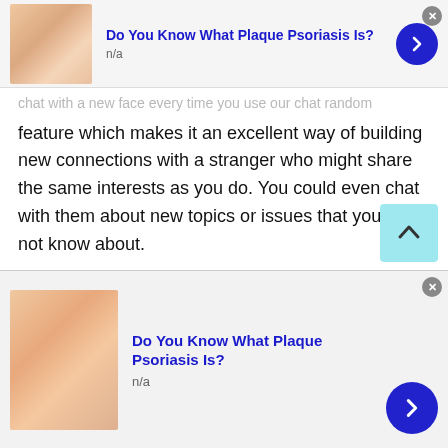[Figure (infographic): Ad banner at top: skin/psoriasis image thumbnail on left, bold blue title 'Do You Know What Plaque Psoriasis Is?', subtitle 'n/a', blue arrow button on right, gray X close button]
...chat with a new face every time you use our chat random feature which makes it an excellent way of building new connections with a stranger who might share the same interests as you do. You could even chat with them about new topics or issues that you did not know about.
Random chat features enable the youth, or teenagers to join a chatroom and speak with someone of their age, from the same gender or even from opposite genders. Since our site has more than 12000 users daily, you can chat with a diverse range of people.
[Figure (infographic): Scroll-to-top button: light blue/cyan square with upward chevron arrow]
[Figure (infographic): Ad banner at bottom: skin/psoriasis image thumbnail on left, bold blue title 'Do You Know What Plaque Psoriasis Is?', subtitle 'n/a', blue arrow button on right, gray X close button]